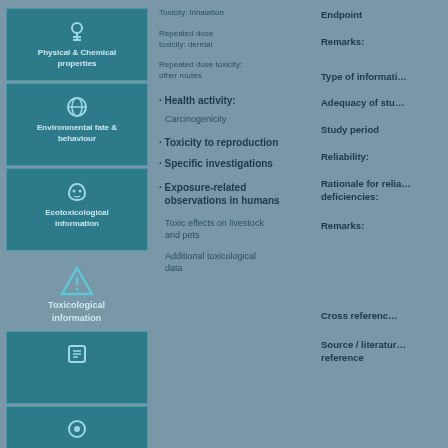[Figure (infographic): Toxicological information infographic with three columns: left column with teal icon boxes (Physical & Chemical properties, Environmental fate & behaviour, Ecotoxicological information, Toxicological information, and two more boxes), middle column with numbered list items and sub-items, right column with field labels]
Physical & Chemical properties
Environmental fate & behaviour
Ecotoxicological information
Toxicological information
Toxicity: inhalation
Repeated dose toxicity: dermal
Repeated dose toxicity: other routes
Health activity
Carcinogenicity
Toxicity to reproduction
Specific investigations
Exposure-related observations in humans
Toxic effects on livestock and pets
Additional toxicological data
Endpoint
Remarks
Type of information
Adequacy of study
Study period
Reliability
Rationale for reliability deficiencies
Remarks
Cross reference
Source / literature reference